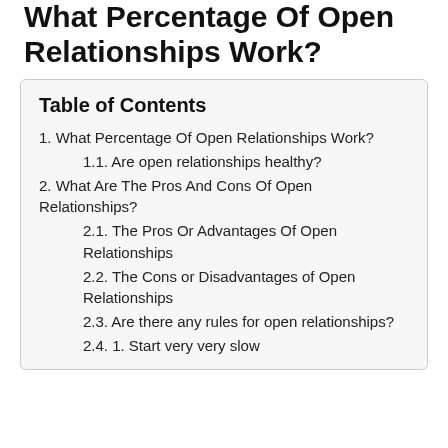What Percentage Of Open Relationships Work?
Table of Contents
1. What Percentage Of Open Relationships Work?
1.1. Are open relationships healthy?
2. What Are The Pros And Cons Of Open Relationships?
2.1. The Pros Or Advantages Of Open Relationships
2.2. The Cons or Disadvantages of Open Relationships
2.3. Are there any rules for open relationships?
2.4. 1. Start very very slow